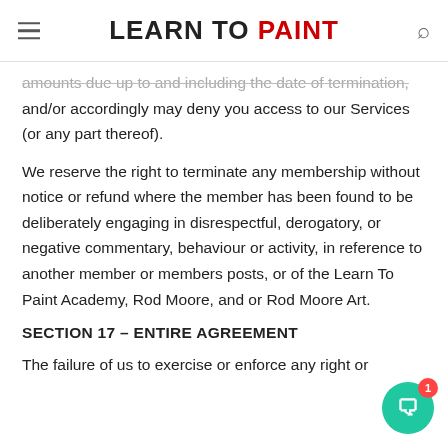LEARN TO PAINT
amounts due up to and including the date of termination, and/or accordingly may deny you access to our Services (or any part thereof).
We reserve the right to terminate any membership without notice or refund where the member has been found to be deliberately engaging in disrespectful, derogatory, or negative commentary, behaviour or activity, in reference to another member or members posts, or of the Learn To Paint Academy, Rod Moore, and or Rod Moore Art.
SECTION 17 – ENTIRE AGREEMENT
The failure of us to exercise or enforce any right or